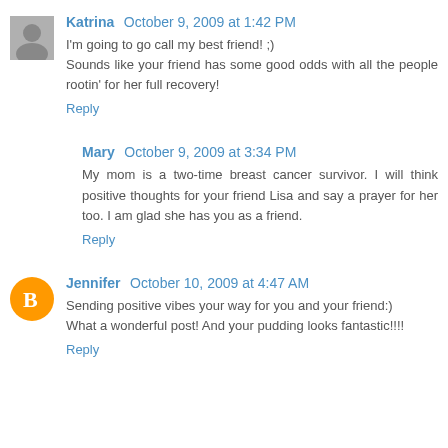Katrina  October 9, 2009 at 1:42 PM
I'm going to go call my best friend! ;) Sounds like your friend has some good odds with all the people rootin' for her full recovery!
Reply
Mary  October 9, 2009 at 3:34 PM
My mom is a two-time breast cancer survivor. I will think positive thoughts for your friend Lisa and say a prayer for her too. I am glad she has you as a friend.
Reply
Jennifer  October 10, 2009 at 4:47 AM
Sending positive vibes your way for you and your friend:) What a wonderful post! And your pudding looks fantastic!!!!
Reply